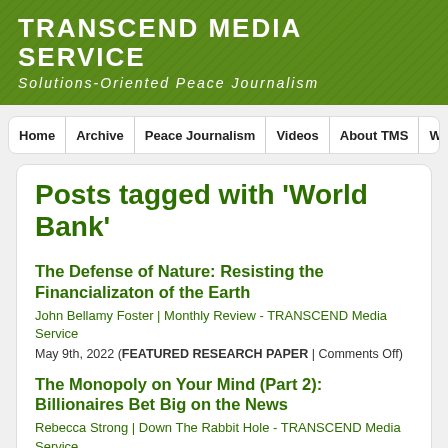TRANSCEND MEDIA SERVICE
Solutions-Oriented Peace Journalism
Home | Archive | Peace Journalism | Videos | About TMS | Write to Antonio (e
Posts tagged with 'World Bank'
The Defense of Nature: Resisting the Financializaton of the Earth
John Bellamy Foster | Monthly Review - TRANSCEND Media Service
May 9th, 2022 (FEATURED RESEARCH PAPER | Comments Off)
The Monopoly on Your Mind (Part 2): Billionaires Bet Big on the News
Rebecca Strong | Down The Rabbit Hole - TRANSCEND Media Service